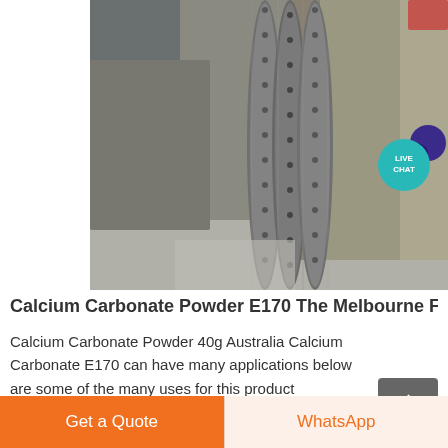[Figure (photo): Industrial large cylindrical metal pipe or vessel with flanged bolted rings/flanges, showing heavy industrial equipment in a factory or plant setting. The pipe has multiple bolted flange connections visible from the side.]
Calcium Carbonate Powder E170 The Melbourne Fo
Calcium Carbonate Powder 40g Australia Calcium Carbonate E170 can have many applications below are some of the many uses for this product